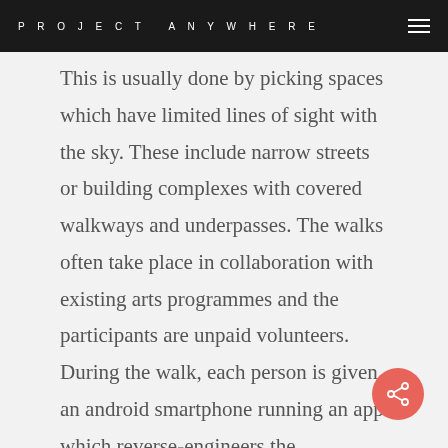PROJECT ANYWHERE
This is usually done by picking spaces which have limited lines of sight with the sky. These include narrow streets or building complexes with covered walkways and underpasses. The walks often take place in collaboration with existing arts programmes and the participants are unpaid volunteers. During the walk, each person is given an android smartphone running an app which reverse-engineers the